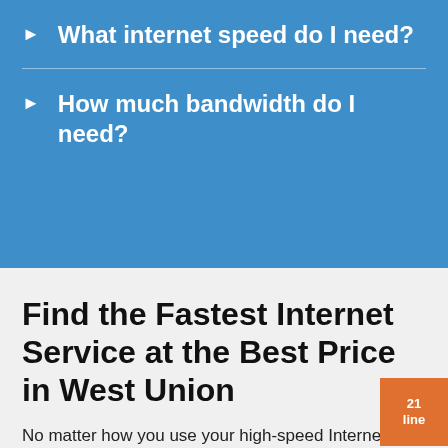What internet speed do I need?
How much bandwidth do I need?
Find the Fastest Internet Service at the Best Price in West Union
No matter how you use your high-speed Internet – online gaming, streaming movies or sports, even video chatting